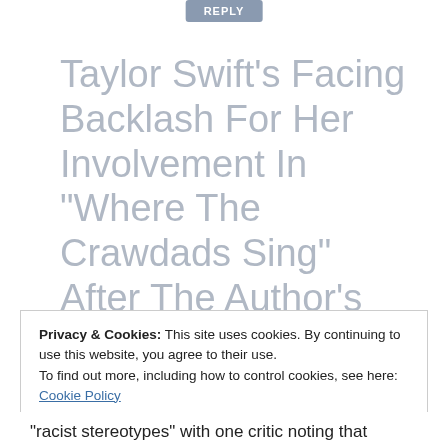REPLY
Taylor Swift’s Facing Backlash For Her Involvement In “Where The Crawdads Sing” After The Author’s Problematic Past Resurfaced - News World Express
Privacy & Cookies: This site uses cookies. By continuing to use this website, you agree to their use.
To find out more, including how to control cookies, see here: Cookie Policy
Close and accept
“racist stereotypes” with one critic noting that